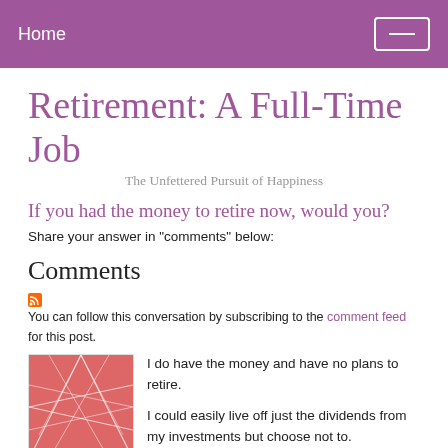Home
Retirement: A Full-Time Job
The Unfettered Pursuit of Happiness
If you had the money to retire now, would you?
Share your answer in "comments" below:
Comments
You can follow this conversation by subscribing to the comment feed for this post.
[Figure (illustration): Red abstract geometric avatar image with intersecting lines on a pink/red background]
I do have the money and have no plans to retire.

I could easily live off just the dividends from my investments but choose not to.